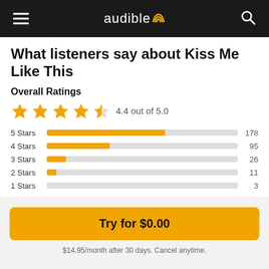audible
What listeners say about Kiss Me Like This
Overall Ratings
[Figure (other): 4.4 out of 5.0 star rating display with 4 full stars and 1 half star]
[Figure (bar-chart): Star rating breakdown]
Try for $0.00
$14.95/month after 30 days. Cancel anytime.